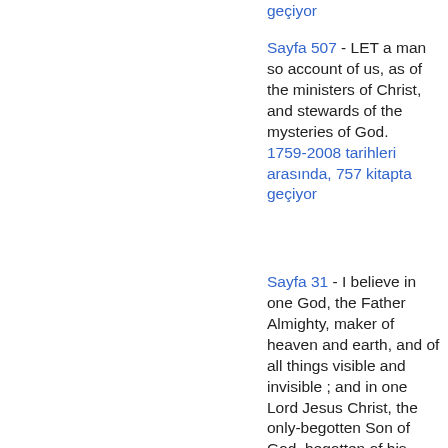geçiyor
Sayfa 507 - LET a man so account of us, as of the ministers of Christ, and stewards of the mysteries of God. 1759-2008 tarihleri arasında, 757 kitapta geçiyor
Sayfa 31 - I believe in one God, the Father Almighty, maker of heaven and earth, and of all things visible and invisible ; and in one Lord Jesus Christ, the only-begotten Son of God, begotten of his Father before all worlds, God of God, Light of Light, very God of very God, begotten, not